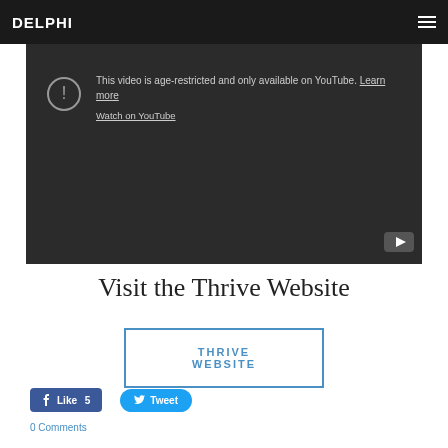DELPHI
[Figure (screenshot): YouTube age-restricted video embed showing message: 'This video is age-restricted and only available on YouTube. Learn more' with a Watch on YouTube link and YouTube logo in the bottom right corner.]
Visit the Thrive Website
THRIVE WEBSITE
Like 5
Tweet
0 Comments